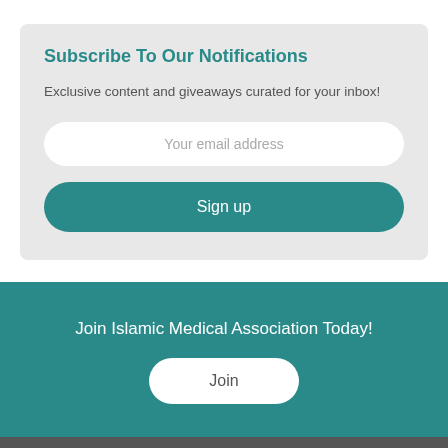Subscribe To Our Notifications
Exclusive content and giveaways curated for your inbox!
Your email address
Sign up
Join Islamic Medical Association Today!
Join